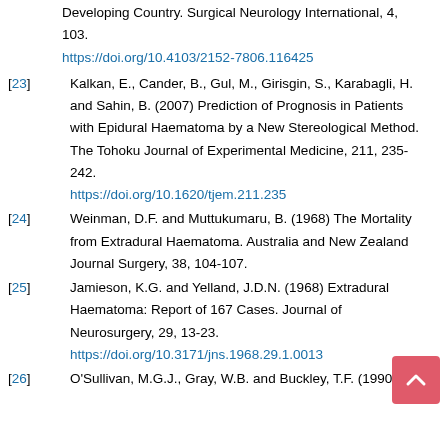Developing Country. Surgical Neurology International, 4, 103. https://doi.org/10.4103/2152-7806.116425
[23] Kalkan, E., Cander, B., Gul, M., Girisgin, S., Karabagli, H. and Sahin, B. (2007) Prediction of Prognosis in Patients with Epidural Haematoma by a New Stereological Method. The Tohoku Journal of Experimental Medicine, 211, 235-242. https://doi.org/10.1620/tjem.211.235
[24] Weinman, D.F. and Muttukumaru, B. (1968) The Mortality from Extradural Haematoma. Australia and New Zealand Journal Surgery, 38, 104-107.
[25] Jamieson, K.G. and Yelland, J.D.N. (1968) Extradural Haematoma: Report of 167 Cases. Journal of Neurosurgery, 29, 13-23. https://doi.org/10.3171/jns.1968.29.1.0013
[26] O'Sullivan, M.G.J., Gray, W.B. and Buckley, T.F. (1990)